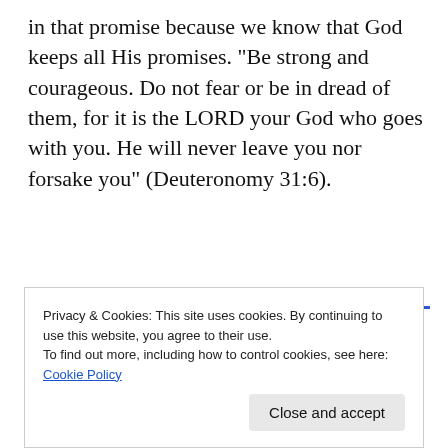in that promise because we know that God keeps all His promises. “Be strong and courageous. Do not fear or be in dread of them, for it is the LORD your God who goes with you. He will never leave you nor forsake you” (Deuteronomy 31:6).
Advertisements
[Figure (logo): Pressable logo with blue P icon and text 'Pressable' followed by decorative dots]
The Platform
Privacy & Cookies: This site uses cookies. By continuing to use this website, you agree to their use. To find out more, including how to control cookies, see here: Cookie Policy